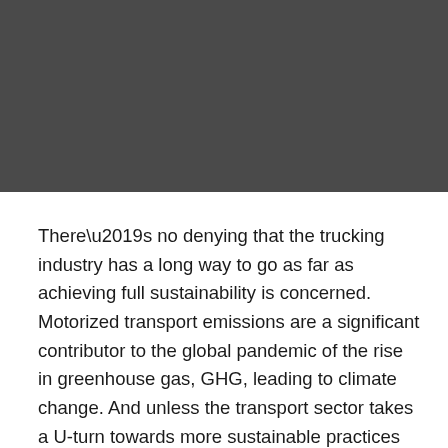[Figure (photo): Dark grey/charcoal colored rectangular image placeholder occupying the top portion of the page]
There’s no denying that the trucking industry has a long way to go as far as achieving full sustainability is concerned. Motorized transport emissions are a significant contributor to the global pandemic of the rise in greenhouse gas, GHG, leading to climate change. And unless the transport sector takes a U-turn towards more sustainable practices